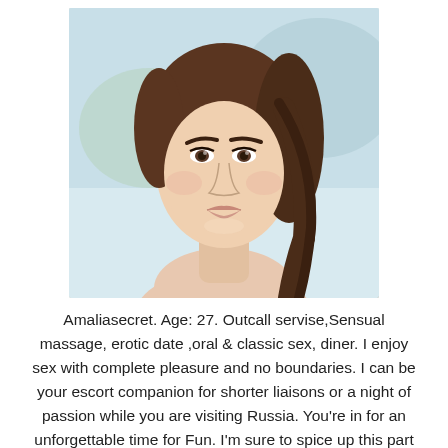[Figure (photo): Close-up portrait photo of a young woman with brown hair pulled back, light skin, subtle makeup, looking slightly to the side with a gentle smile. Bright background.]
Amaliasecret. Age: 27. Outcall servise,Sensual massage, erotic date ,oral & classic sex, diner. I enjoy sex with complete pleasure and no boundaries. I can be your escort companion for shorter liaisons or a night of passion while you are visiting Russia. You're in for an unforgettable time for Fun. I'm sure to spice up this part of your life for